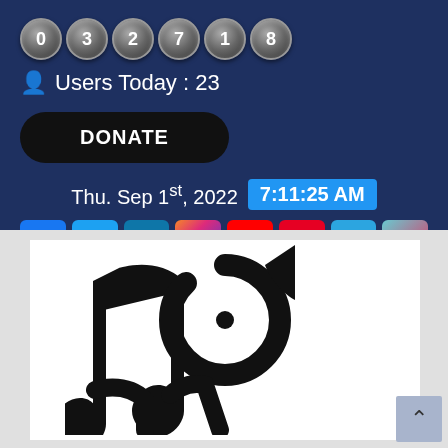032718 (visitor counter)
👤 Users Today : 23
DONATE
Thu. Sep 1st, 2022  7:11:25 AM
[Figure (logo): Social media icon buttons: Facebook, Twitter, LinkedIn, Instagram, YouTube, Pinterest, Telegram, TikTok]
[Figure (logo): Large black TikTok logo on white background, partially cropped]